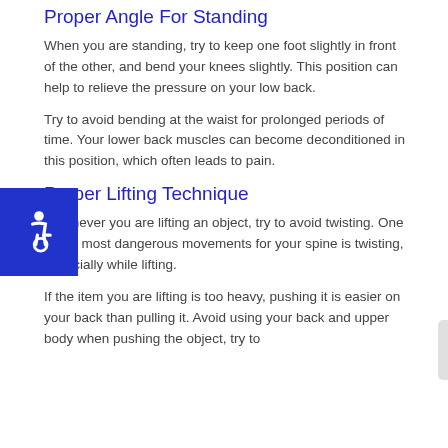Proper Angle For Standing
When you are standing, try to keep one foot slightly in front of the other, and bend your knees slightly. This position can help to relieve the pressure on your low back.
Try to avoid bending at the waist for prolonged periods of time. Your lower back muscles can become deconditioned in this position, which often leads to pain.
Proper Lifting Technique
Whenever you are lifting an object, try to avoid twisting. One of the most dangerous movements for your spine is twisting, especially while lifting.
If the item you are lifting is too heavy, pushing it is easier on your back than pulling it. Avoid using your back and upper body when pushing the object, try to